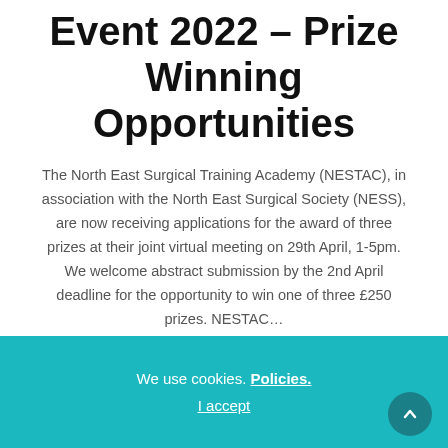Event 2022 – Prize Winning Opportunities
The North East Surgical Training Academy (NESTAC), in association with the North East Surgical Society (NESS), are now receiving applications for the award of three prizes at their joint virtual meeting on 29th April, 1-5pm. We welcome abstract submission by the 2nd April deadline for the opportunity to win one of three £250 prizes. NESTAC…
March 4, 2022
NEWS
We use cookies. Policies.
I accept